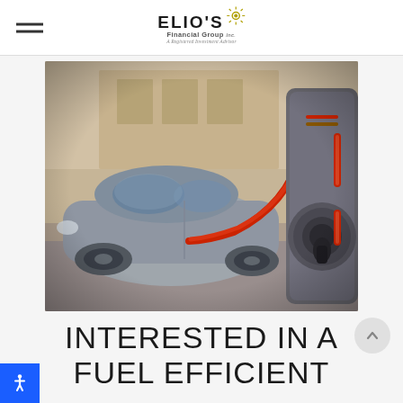ELIOS Financial Group
[Figure (photo): Close-up photo of a silver electric vehicle being charged at an EV charging station. A red charging cable connects from the vehicle to the charging unit on the right. The charger has a circular port with the cable inserted. The background shows an urban setting.]
INTERESTED IN A FUEL EFFICIENT